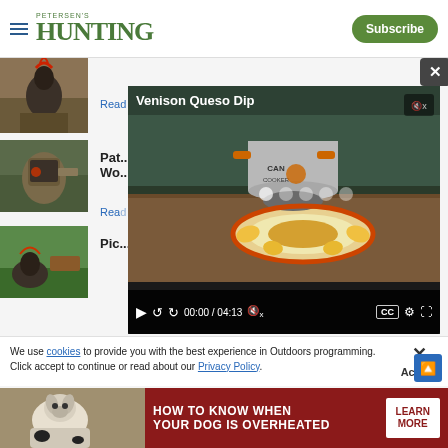PETERSEN'S HUNTING — Subscribe
[Figure (screenshot): Thumbnail image of a wild turkey in a field]
Read Article
[Figure (screenshot): Thumbnail image of a hunter in camouflage gear with a rifle scope]
Pat... Wo...
Rea...
[Figure (screenshot): Thumbnail image of a bird/game animal in brush]
Pic...
[Figure (screenshot): Video overlay: Venison Queso Dip recipe video showing a Can Cooker pot and plate of queso dip with chips on an outdoor table. Controls show 00:00 / 04:13.]
We use cookies to provide you with the best experience in Outdoors programming. Click accept to continue or read about our Privacy Policy.
Advertisement
[Figure (infographic): Advertisement banner: dark red background with dog photo on left. Text reads HOW TO KNOW WHEN YOUR DOG IS OVERHEATED with LEARN MORE button on right.]